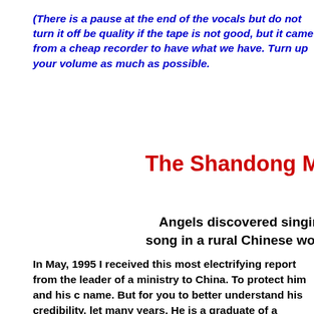(There is a pause at the end of the vocals but do not turn it off be... quality if the tape is not good, but it came from a cheap recorder to have what we have. Turn up your volume as much as possible.
The Shandong M...
Angels discovered singing song in a rural Chinese wor...
In May, 1995 I received this most electrifying report from the leader of a ministry to China. To protect him and his c... name. But for you to better understand his credibility, let many years. He is a graduate of a prestigious theologica... friend is an intelligent and balanced servant of God. He i... following is a summary of his recent report to me.
The whole province of Shandong, in eastern China (popu... sweeping revival. For fear of arrest, believers meet secre... candlelight. At a 1995 meeting in Shandong, everyone wa... Corinthians 14:15), not in their own language, but "as the" harmony but all singing different words. Someone audio...